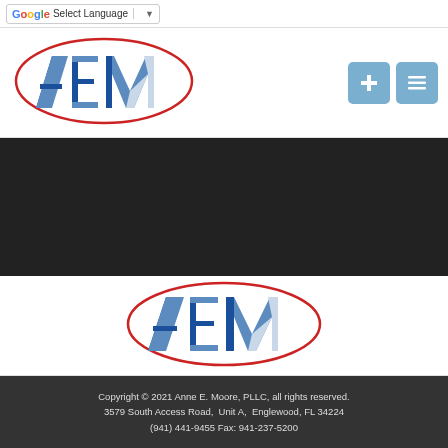[Figure (screenshot): Google Translate 'Select Language' widget in top bar]
[Figure (logo): AEM (Anne E. Moore) logo with red oval outline in header]
[Figure (other): Navigation buttons: plus icon and list icon, in blue-grey squares]
SHARE AND REVIEW
[Figure (logo): Social sharing icons: Google, Angie's List, Facebook, Twitter]
[Figure (logo): AEM (Anne E. Moore) logo with red oval outline in footer white section]
Copyright © 2021 Anne E. Moore, PLLC, all rights reserved.
3579 South Access Road, Unit A, Englewood, FL 34224
(941) 441-9455 Fax: 941-237-5200